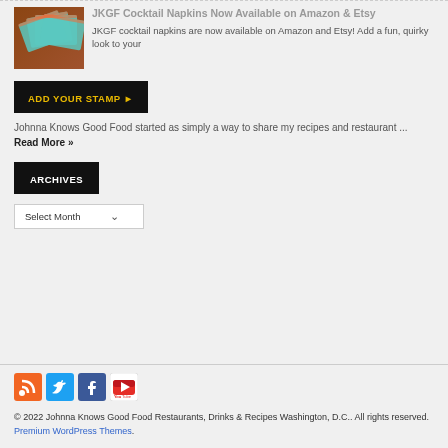[Figure (photo): Thumbnail image of teal cocktail napkins fanned out on a wooden surface]
JKGF Cocktail Napkins Now Available on Amazon & Etsy
JKGF cocktail napkins are now available on Amazon and Etsy! Add a fun, quirky look to your
[Figure (other): Button: ADD YOUR STAMP with arrow icon]
Johnna Knows Good Food started as simply a way to share my recipes and restaurant ... Read More »
ARCHIVES
Select Month
[Figure (other): Social media icons: RSS, Twitter, Facebook, YouTube]
© 2022 Johnna Knows Good Food Restaurants, Drinks & Recipes Washington, D.C.. All rights reserved. Premium WordPress Themes.